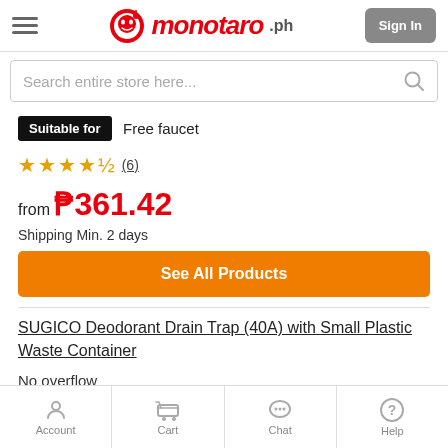monotaro.ph — Sign In
Search entire store here...
Suitable for  Free faucet
★★★★☆ (6)
from ₱361.42
Shipping Min. 2 days
See All Products
SUGICO Deodorant Drain Trap (40A) with Small Plastic Waste Container
No overflow
Included Accessories
Account  Cart  Chat  Help